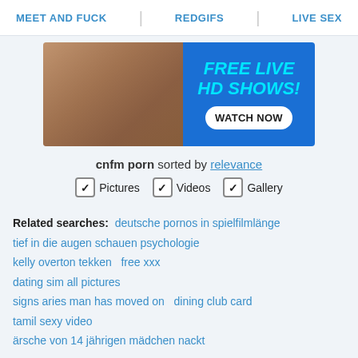MEET AND FUCK | REDGIFS | LIVE SEX
[Figure (photo): Advertisement banner showing a woman in lingerie on the left and blue background with cyan text 'FREE LIVE HD SHOWS!' and white button 'WATCH NOW' on the right]
cnfm porn sorted by relevance
✓ Pictures  ✓ Videos  ✓ Gallery
Related searches: deutsche pornos in spielfilmlänge  tief in die augen schauen psychologie  kelly overton tekken   free xxx  dating sim all pictures  signs aries man has moved on   dining club card  tamil sexy video  ärsche von 14 jährigen mädchen nackt